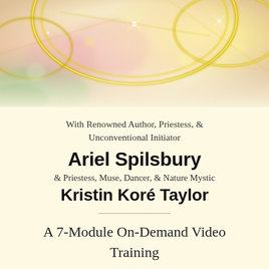[Figure (photo): Decorative top banner image with golden rings, sparkles, bokeh lights in warm pink, gold, and green tones on a bright background]
With Renowned Author, Priestess, &
Unconventional Initiator
Ariel Spilsbury
& Priestess, Muse, Dancer, & Nature Mystic
Kristin Koré Taylor
A 7-Module On-Demand Video Training